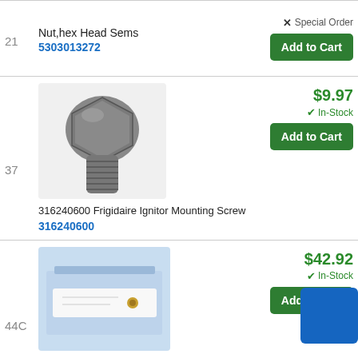21 | Nut,hex Head Sems | Part# 5303013272 | Special Order | [Add to Cart]
[Figure (photo): Photo of a hex head sems screw/mounting screw, dark metal]
37 | 316240600 Frigidaire Ignitor Mounting Screw | Part# 316240600 | $9.97 | In-Stock | [Add to Cart]
[Figure (photo): Photo of a small part in a plastic bag, Frigidaire Top Burner Orifice]
44C | 316237902 Frigidaire Top Burner Orifice | Part# 316237902 | $42.92 | In-Stock | [Add to Cart]